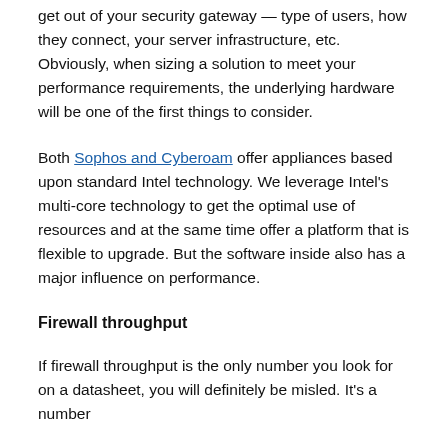get out of your security gateway — type of users, how they connect, your server infrastructure, etc. Obviously, when sizing a solution to meet your performance requirements, the underlying hardware will be one of the first things to consider.
Both Sophos and Cyberoam offer appliances based upon standard Intel technology. We leverage Intel's multi-core technology to get the optimal use of resources and at the same time offer a platform that is flexible to upgrade. But the software inside also has a major influence on performance.
Firewall throughput
If firewall throughput is the only number you look for on a datasheet, you will definitely be misled. It's a number